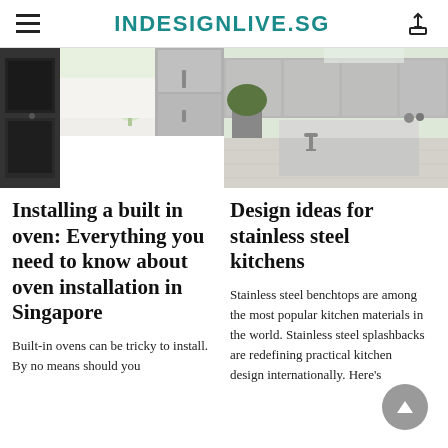INDESIGNLIVE.SG
[Figure (photo): Kitchen interior with white cabinetry, built-in black oven and stainless steel refrigerator on left; modern white kitchen with island and stainless steel surfaces on right]
Installing a built in oven: Everything you need to know about oven installation in Singapore
Built-in ovens can be tricky to install. By no means should you
Design ideas for stainless steel kitchens
Stainless steel benchtops are among the most popular kitchen materials in the world. Stainless steel splashbacks are redefining practical kitchen design internationally. Here's